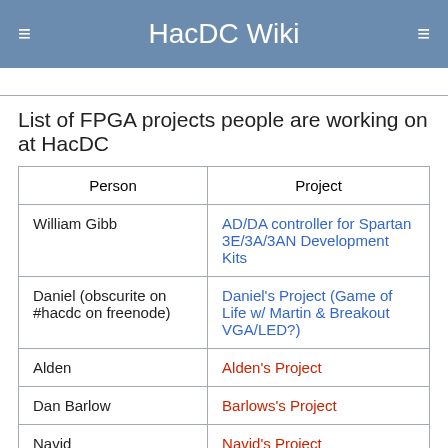HacDC Wiki
(partial link truncated at top)
List of FPGA projects people are working on at HacDC
| Person | Project |
| --- | --- |
| William Gibb | AD/DA controller for Spartan 3E/3A/3AN Development Kits |
| Daniel (obscurite on #hacdc on freenode) | Daniel's Project (Game of Life w/ Martin & Breakout VGA/LED?) |
| Alden | Alden's Project |
| Dan Barlow | Barlows's Project |
| Navid | Navid's Project |